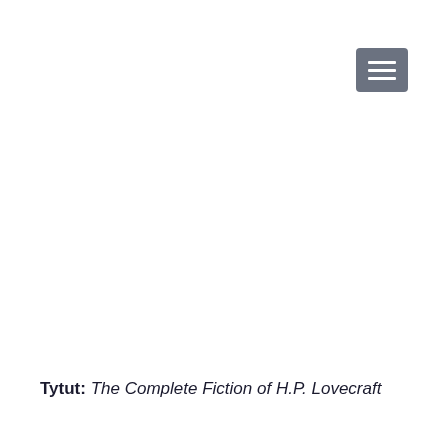[Figure (other): Hamburger menu button icon — three horizontal white lines on a grey rounded rectangle background, positioned top-right]
Tytut: The Complete Fiction of H.P. Lovecraft
...